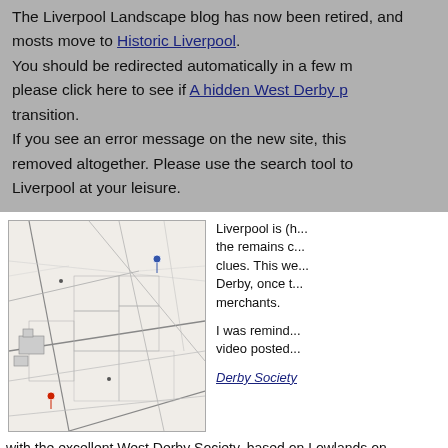The Liverpool Landscape blog has now been retired, mosts move to Historic Liverpool. You should be redirected automatically in a few moments, please click here to see if A hidden West Derby p... transition. If you see an error message on the new site, this ... removed altogether. Please use the search tool to explore Historic Liverpool at your leisure.
[Figure (map): A black and white historical map of West Derby area near Liverpool, showing fields, roads, buildings and land parcels with two colored marker pins.]
Liverpool is (h... the remains c... clues. This we... Derby, once t... merchants.
I was remind... video posted...
Derby Society
with the excellent West Derby Society, based on Lowlands on Hayma...